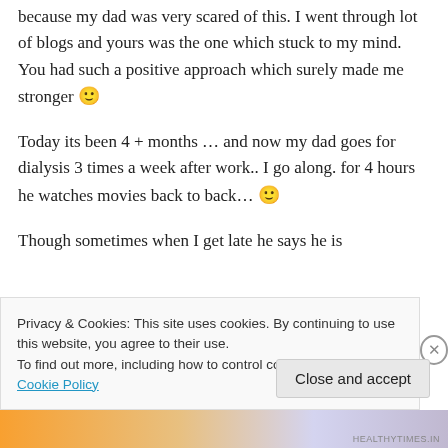because my dad was very scared of this. I went through lot of blogs and yours was the one which stuck to my mind. You had such a positive approach which surely made me stronger 🙂
Today its been 4 + months … and now my dad goes for dialysis 3 times a week after work.. I go along. for 4 hours he watches movies back to back… 🙂
Though sometimes when I get late he says he is
Privacy & Cookies: This site uses cookies. By continuing to use this website, you agree to their use.
To find out more, including how to control cookies, see here: Cookie Policy
Close and accept